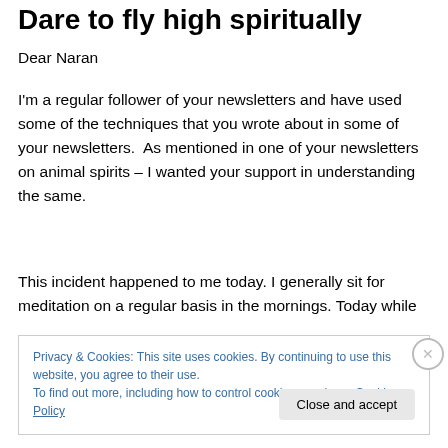Dare to fly high spiritually
Dear Naran
I'm a regular follower of your newsletters and have used some of the techniques that you wrote about in some of your newsletters.  As mentioned in one of your newsletters on animal spirits – I wanted your support in understanding the same.
This incident happened to me today. I generally sit for meditation on a regular basis in the mornings. Today while
Privacy & Cookies: This site uses cookies. By continuing to use this website, you agree to their use.
To find out more, including how to control cookies, see here: Cookie Policy
Close and accept